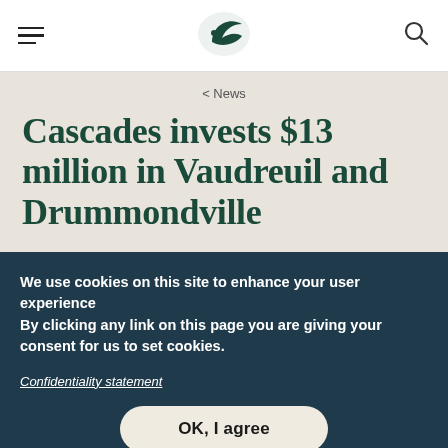Navigation bar with hamburger menu, Cascades logo, and search icon
< News
Cascades invests $13 million in Vaudreuil and Drummondville
We use cookies on this site to enhance your user experience
By clicking any link on this page you are giving your consent for us to set cookies.
Confidentiality statement
OK, I agree